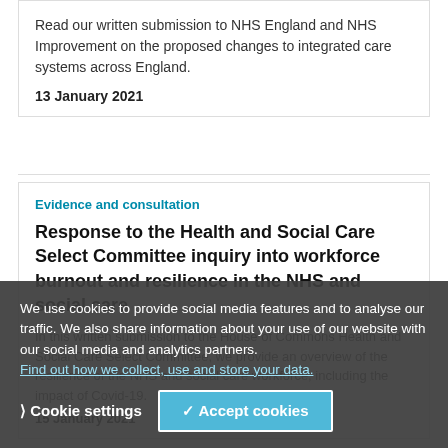Read our written submission to NHS England and NHS Improvement on the proposed changes to integrated care systems across England.
13 January 2021
Evidence and consultation
Response to the Health and Social Care Select Committee inquiry into workforce burnout and resilience in the NHS and social care
In this written submission to the House of Commons Health and Social Care Select Committee, we provide an overview of the resilience of the NHS and social care workforce, including the impact of Covid-19.
15 January 2021
We use cookies to provide social media features and to analyse our traffic. We also share information about your use of our website with our social media and analytics partners. Find out how we collect, use and store your data.